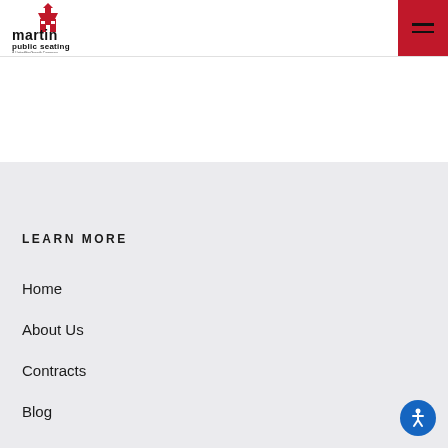[Figure (logo): Martin Public Seating logo — red schoolhouse icon above bold text 'martin public seating' and subtitle 'A UnitedForGrowth Company']
[Figure (other): Red hamburger menu button with two dark horizontal lines]
LEARN MORE
Home
About Us
Contracts
Blog
Contact Us
[Figure (other): Blue circular accessibility icon button with white wheelchair/person symbol]